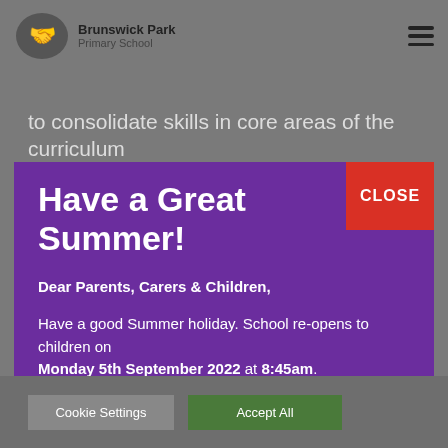Brunswick Park Primary School
to consolidate skills in core areas of the curriculum
Have a Great Summer!
Dear Parents, Carers & Children,
Have a good Summer holiday. School re-opens to children on Monday 5th September 2022 at 8:45am.
Cookie Settings   Accept All